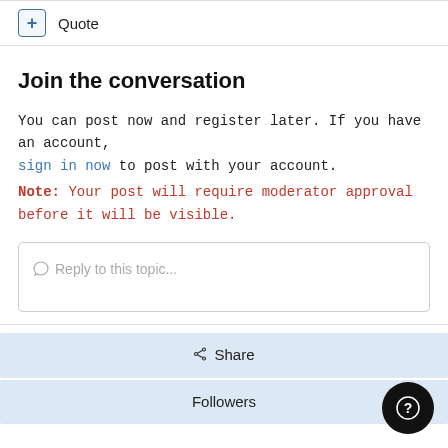+ Quote
Join the conversation
You can post now and register later. If you have an account, sign in now to post with your account.
Note: Your post will require moderator approval before it will be visible.
Reply to this topic...
Share
Followers